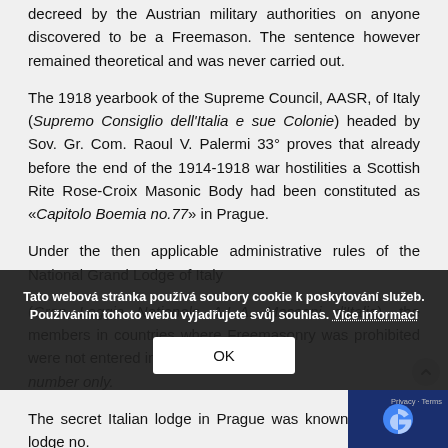decreed by the Austrian military authorities on anyone discovered to be a Freemason. The sentence however remained theoretical and was never carried out.
The 1918 yearbook of the Supreme Council, AASR, of Italy (Supremo Consiglio dell'Italia e sue Colonie) headed by Sov. Gr. Com. Raoul V. Palermi 33° proves that already before the end of the 1914-1918 war hostilities a Scottish Rite Rose-Croix Masonic Body had been constituted as «Capitolo Boemia no.77» in Prague.
Under the then applicable administrative rules of the National Grand Lodge of Italy
(Gran Loggia Nationale A.L.A. Massoni d'Italia), the members in countries where Freemasonry was prohibited were not entered in
number only.
The secret Italian lodge in Prague was known simply as lodge no.
[Figure (other): Cookie consent banner overlay with Czech text: 'Tato webová stránka používá soubory cookie k poskytování služeb. Používáním tohoto webu vyjadřujete svůj souhlas. Více informací' and an OK button.]